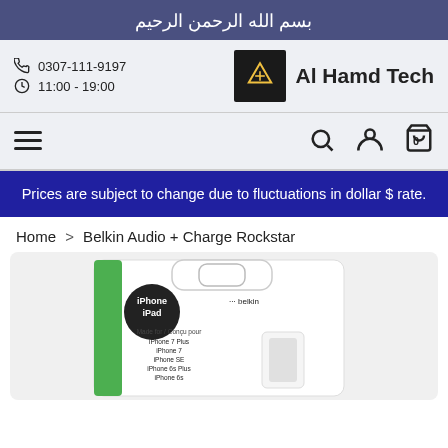بسم الله الرحمن الرحيم
0307-111-9197 / 11:00 - 19:00 | Al Hamd Tech
Prices are subject to change due to fluctuations in dollar $ rate.
Home > Belkin Audio + Charge Rockstar
[Figure (photo): Belkin Audio + Charge Rockstar product package showing iPhone/iPad compatibility label and Belkin branding, with images of iPhone 7 Plus, iPhone 7, iPhone SE, iPhone 6s Plus, iPhone 6s listed on the packaging.]